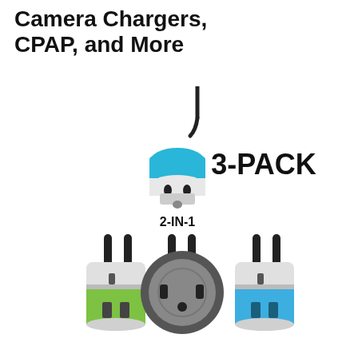Camera Chargers, CPAP, and More
[Figure (photo): Product image showing three power adapter plugs (green, dark gray/black, and blue) with European-style two-pin plugs on top and US-style sockets, labeled as a 3-PACK. A smaller 2-IN-1 adapter is shown above left with a blue accent. Text '3-PACK' appears to the right and '2-IN-1' appears below the small adapter.]